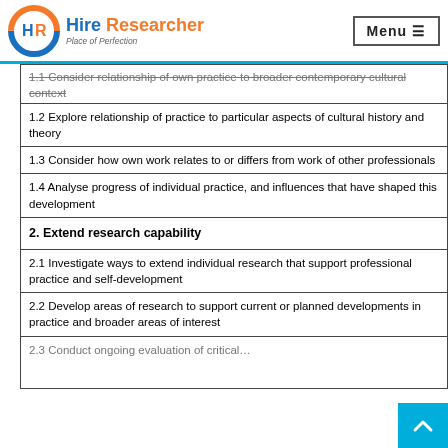Hire Researcher — Place of Perfection | Menu
1.1 Consider relationship of own practice to broader contemporary cultural context
1.2 Explore relationship of practice to particular aspects of cultural history and theory
1.3 Consider how own work relates to or differs from work of other professionals
1.4 Analyse progress of individual practice, and influences that have shaped this development
2. Extend research capability
2.1 Investigate ways to extend individual research that support professional practice and self-development
2.2 Develop areas of research to support current or planned developments in practice and broader areas of interest
2.3 Conduct ongoing evaluation of critical…